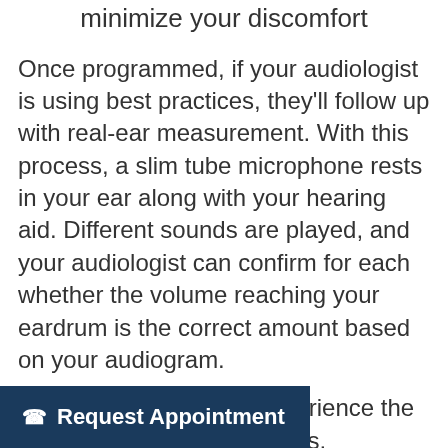…but might need to be adjusted to minimize your discomfort
Once programmed, if your audiologist is using best practices, they'll follow up with real-ear measurement. With this process, a slim tube microphone rests in your ear along with your hearing aid. Different sounds are played, and your audiologist can confirm for each whether the volume reaching your eardrum is the correct amount based on your audiogram.
This is where you first experience the benefits of your hearing aids. Especially for those who have a loved one with them at … can be an emotional …t.
Request Appointment